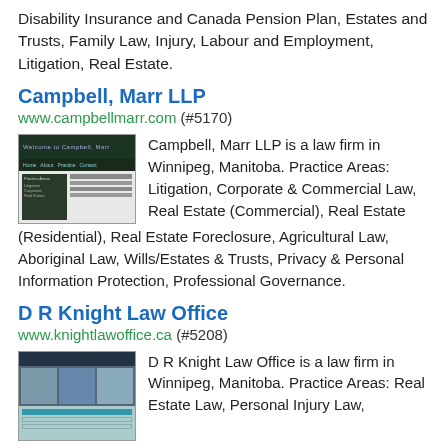Disability Insurance and Canada Pension Plan, Estates and Trusts, Family Law, Injury, Labour and Employment, Litigation, Real Estate.
Campbell, Marr LLP
www.campbellmarr.com (#5170)
[Figure (screenshot): Screenshot of Campbell, Marr LLP website with dark green header and navigation menu]
Campbell, Marr LLP is a law firm in Winnipeg, Manitoba. Practice Areas: Litigation, Corporate & Commercial Law, Real Estate (Commercial), Real Estate (Residential), Real Estate Foreclosure, Agricultural Law, Aboriginal Law, Wills/Estates & Trusts, Privacy & Personal Information Protection, Professional Governance.
D R Knight Law Office
www.knightlawoffice.ca (#5208)
[Figure (screenshot): Screenshot of D R Knight Law Office website with dark blue header and teal accents]
D R Knight Law Office is a law firm in Winnipeg, Manitoba. Practice Areas: Real Estate Law, Personal Injury Law,